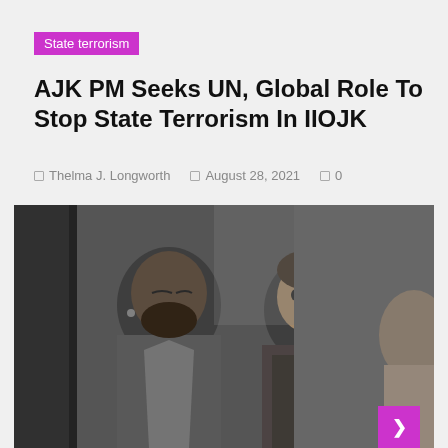State terrorism
AJK PM Seeks UN, Global Role To Stop State Terrorism In IIOJK
Thelma J. Longworth   August 28, 2021   0
[Figure (photo): Black and white photograph showing two people seated — a man with a beard on the left and a woman on the right with her hand raised to her chin, appearing to be at some kind of meeting or conference.]